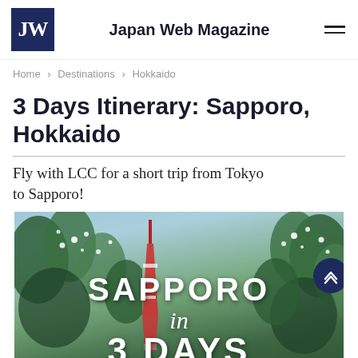Japan Web Magazine
Home > Destinations > Hokkaido
3 Days Itinerary: Sapporo, Hokkaido
Fly with LCC for a short trip from Tokyo to Sapporo!
[Figure (photo): Photo of Sapporo with trees and TV tower, overlaid with text 'SAPPORO in 3 DAYS']